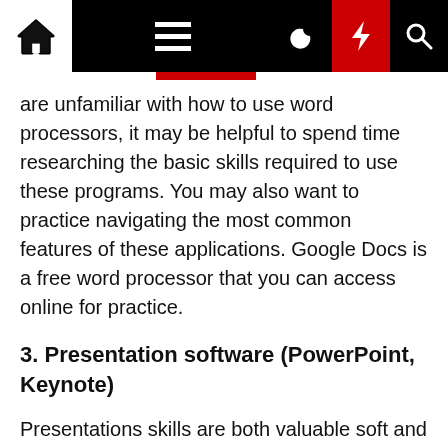Navigation bar with home, menu, moon, bolt, and search icons
are unfamiliar with how to use word processors, it may be helpful to spend time researching the basic skills required to use these programs. You may also want to practice navigating the most common features of these applications. Google Docs is a free word processor that you can access online for practice.
3. Presentation software (PowerPoint, Keynote)
Presentations skills are both valuable soft and computer skills. Presentation software is important to have a basic knowledge of in many careers both for organizing and presenting ideas in a company, internally and externally. There are several programs you can use to create presentations, including